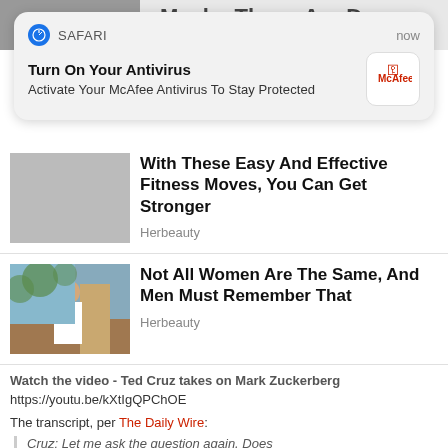[Figure (screenshot): Partial top background showing cropped thumbnail and text 'Maybe These Are Dua Lipa's New Rules?']
[Figure (screenshot): Safari browser notification popup: 'Turn On Your Antivirus - Activate Your McAfee Antivirus To Stay Protected' with McAfee logo]
[Figure (photo): Article about fitness with no thumbnail visible in this section]
With These Easy And Effective Fitness Moves, You Can Get Stronger
Herbeauty
[Figure (photo): Woman in white outfit standing outside with trees and building in background]
Not All Women Are The Same, And Men Must Remember That
Herbeauty
Watch the video - Ted Cruz takes on Mark Zuckerberg
https://youtu.be/kXtIgQPChOE
The transcript, per The Daily Wire:
Cruz: Let me ask the question again. Does